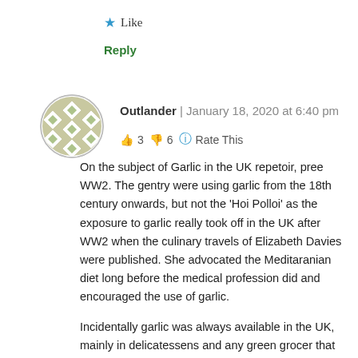★ Like
Reply
[Figure (illustration): User avatar: circular icon with green and white diamond/checkered pattern]
Outlander | January 18, 2020 at 6:40 pm
👍 3 👎 6 🔵 Rate This
On the subject of Garlic in the UK repetoir, pree WW2. The gentry were using garlic from the 18th century onwards, but not the 'Hoi Polloi' as the exposure to garlic really took off in the UK after WW2 when the culinary travels of Elizabeth Davies were published. She advocated the Meditaranian diet long before the medical profession did and encouraged the use of garlic.

Incidentally garlic was always available in the UK, mainly in delicatessens and any green grocer that was by appointment – such as Harrods, Jenners, Fortnam & Mason's, etc. Most of the